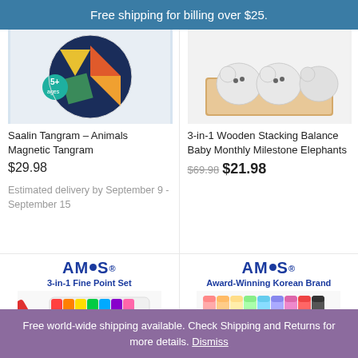Free shipping for billing over $25.
[Figure (photo): Saalin Tangram Animals Magnetic Tangram product image - circular tangram puzzle with animal shapes on dark blue background, labeled 5+ years]
Saalin Tangram – Animals Magnetic Tangram
$29.98
Estimated delivery by September 9 - September 15
[Figure (photo): 3-in-1 Wooden Stacking Balance Baby Monthly Milestone Elephants product image - white wooden elephant puzzle pieces in a wooden tray]
3-in-1 Wooden Stacking Balance Baby Monthly Milestone Elephants
$69.98 $21.98
[Figure (photo): AMOS 3-in-1 Fine Point Set product image - colorful markers set]
[Figure (photo): AMOS Award-Winning Korean Brand product image - colorful crayons]
Free world-wide shipping available. Check Shipping and Returns for more details. Dismiss